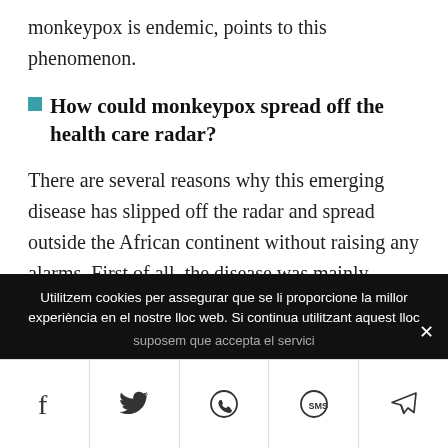monkeypox is endemic, points to this phenomenon.
How could monkeypox spread off the health care radar?
There are several reasons why this emerging disease has slipped off the radar and spread outside the African continent without raising any alarms. First of all, the disease was mainly confined to seven countries in Africa, where it remains endemic. Healthcare
Utilitzem cookies per assegurar que se li proporcione la millor experiència en el nostre lloc web. Si continua utilitzant aquest lloc